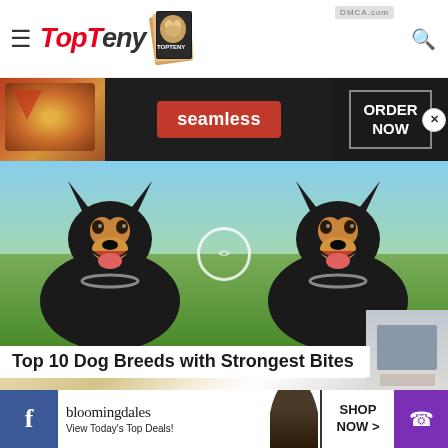TopTeny - website header with logo, hamburger menu, search icon, and DMCA.com badge
[Figure (screenshot): Seamless food delivery advertisement banner with pizza image on left, red 'seamless' badge in center, 'ORDER NOW' button on right with dark background]
[Figure (photo): Two Doberman dogs smiling side by side on a green field, with a white play/pause circle overlay in the center]
Top 10 Dog Breeds with Strongest Bites
[Figure (photo): Second article hero image showing a medical or everyday scene with bright light, a right arrow circle overlay, and a CLOSE button overlay]
[Figure (screenshot): Bloomingdales advertisement: 'bloomingdales View Today's Top Deals! SHOP NOW >' with woman in hat, shown at bottom of page]
Facebook icon | bloomingdales View Today's Top Deals! SHOP NOW > | Phone icon